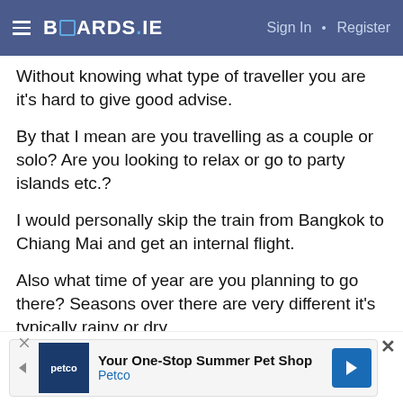BOARDS.IE  Sign In · Register
Without knowing what type of traveller you are it's hard to give good advise.
By that I mean are you travelling as a couple or solo? Are you looking to relax or go to party islands etc.?
I would personally skip the train from Bangkok to Chiang Mai and get an internal flight.
Also what time of year are you planning to go there? Seasons over there are very different it's typically rainy or dry.
Helpneeded86
Registered Users
Posts: 519 ★★★
[Figure (other): Petco advertisement: Your One-Stop Summer Pet Shop]